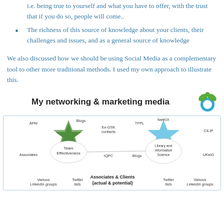i.e. being true to yourself and what you have to offer, with the trust that if you do so, people will come..
The richness of this source of knowledge about your clients, their challenges and issues, and as a general source of knowledge
We also discussed how we should be using Social Media as a complementary tool to other more traditional methods.  I used my own approach to illustrate this.
[Figure (infographic): Networking and marketing media diagram showing two star-burst shapes: a green one labeled 'Team Effectiveness' with surrounding labels APM, Blogs, Ex-GSK contacts, IQPC, Various LinkedIn groups, Twitter lists, Associates, and a blue one labeled 'Library and Information Science' with surrounding labels NetKIX, CILIP, UKeIG, Various LinkedIn groups, Twitter lists, Blogs, TFPL. Below: a central label 'Associates & Clients (actual & potential)'. Title: My networking & marketing media with a logo.]